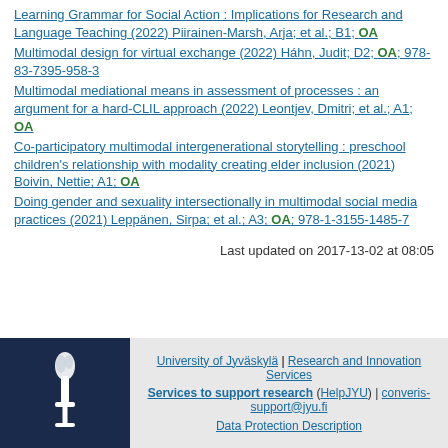Learning Grammar for Social Action : Implications for Research and Language Teaching (2022) Piirainen-Marsh, Arja; et al.; B1; OA
Multimodal design for virtual exchange (2022) Háhn, Judit; D2; OA; 978-83-7395-958-3
Multimodal mediational means in assessment of processes : an argument for a hard-CLIL approach (2022) Leontjev, Dmitri; et al.; A1; OA
Co-participatory multimodal intergenerational storytelling : preschool children's relationship with modality creating elder inclusion (2021) Boivin, Nettie; A1; OA
Doing gender and sexuality intersectionally in multimodal social media practices (2021) Leppänen, Sirpa; et al.; A3; OA; 978-1-3155-1485-7
Last updated on 2017-13-02 at 08:05
University of Jyväskylä | Research and Innovation Services | Services to support research (HelpJYU) | converis-support@jyu.fi | Data Protection Description